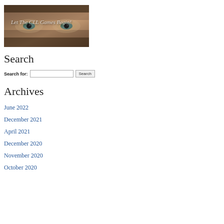[Figure (photo): Banner image showing close-up of eyes with text 'Let The CLL Games Begin!' overlaid in italic light-colored font]
Search
Search for: [input field] Search
Archives
June 2022
December 2021
April 2021
December 2020
November 2020
October 2020